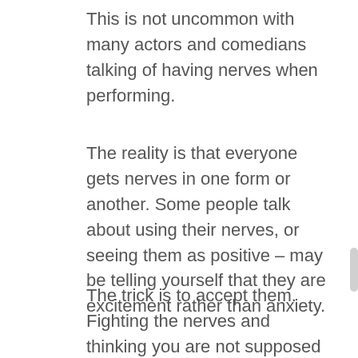This is not uncommon with many actors and comedians talking of having nerves when performing.
The reality is that everyone gets nerves in one form or another. Some people talk about using their nerves, or seeing them as positive – may be telling yourself that they are excitement rather than anxiety.
The trick is to accept them. Fighting the nerves and thinking you are not supposed to feel nervous is a sure fire way to fuel your anxiety. Accepting fear